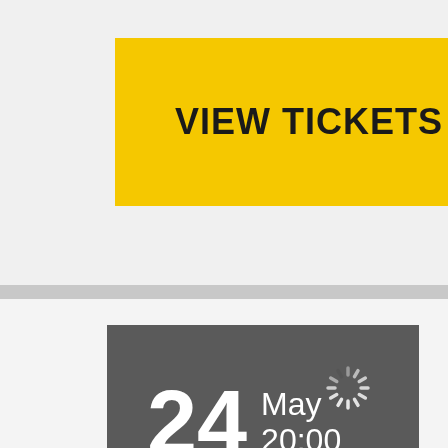VIEW TICKETS
24 May 20:00
[Figure (infographic): Loading spinner icon]